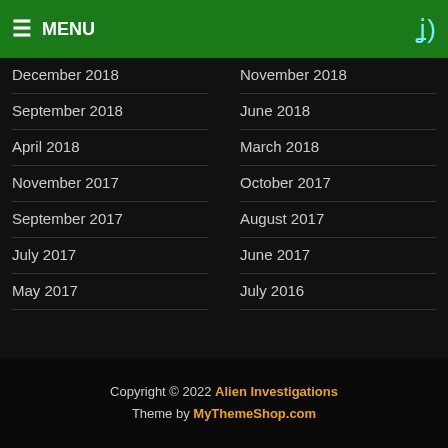≡ MENU
December 2018
November 2018
September 2018
June 2018
April 2018
March 2018
November 2017
October 2017
September 2017
August 2017
July 2017
June 2017
May 2017
July 2016
Copyright © 2022 Alien Investigations
Theme by MyThemeShop.com